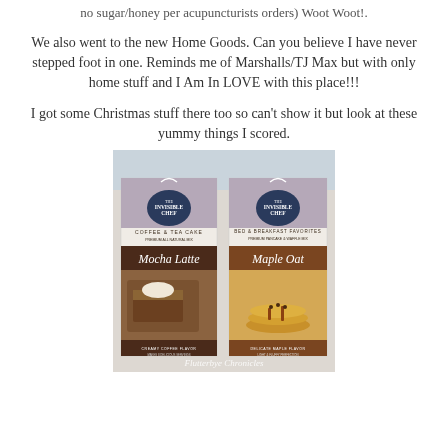no sugar/honey per acupuncturists orders) Woot Woot!.
We also went to the new Home Goods. Can you believe I have never stepped foot in one. Reminds me of Marshalls/TJ Max but with only home stuff and I Am In LOVE with this place!!!
I got some Christmas stuff there too so can't show it but look at these yummy things I scored.
[Figure (photo): Two Invisible Chef brand product boxes: one Coffee & Tea Cake 'Mocha Latte' mix and one Bed & Breakfast Favorites 'Maple Oat' pancake & waffle mix, with watermark 'Flutterbye Chronicles']